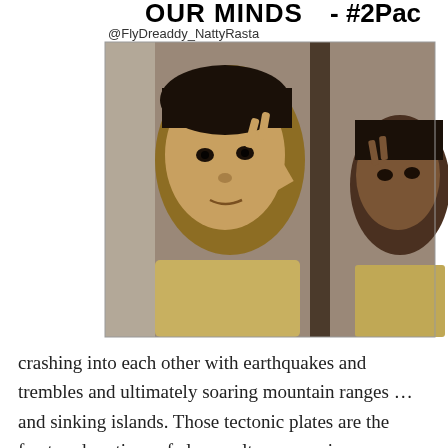[Figure (photo): Social media post header showing text 'OUR MINDS - #2Pac' with handle '@FlyDreaddy_NattyRasta', followed by a photo of two people pointing fingers at their temples]
crashing into each other with earthquakes and trembles and ultimately soaring mountain ranges … and sinking islands. Those tectonic plates are the fractured sections of class, culture, race, income levels, social status, generational